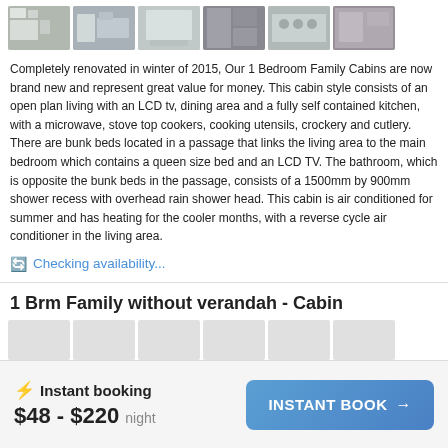[Figure (photo): Strip of 6 thumbnail photos showing interior of a renovated cabin: kitchen, living area, bathroom, bunk beds, stove top, and hallway.]
Completely renovated in winter of 2015, Our 1 Bedroom Family Cabins are now brand new and represent great value for money. This cabin style consists of an open plan living with an LCD tv, dining area and a fully self contained kitchen, with a microwave, stove top cookers, cooking utensils, crockery and cutlery. There are bunk beds located in a passage that links the living area to the main bedroom which contains a queen size bed and an LCD TV. The bathroom, which is opposite the bunk beds in the passage, consists of a 1500mm by 900mm  shower recess with overhead rain shower head. This cabin is air conditioned for summer and has heating for the cooler months, with a reverse cycle air conditioner in the living area.
Checking availability...
1 Brm Family without verandah - Cabin
[Figure (photo): Partial strip of thumbnail photos for the 1 Brm Family without verandah - Cabin listing.]
⚡ Instant booking
$48 - $220 night
INSTANT BOOK →